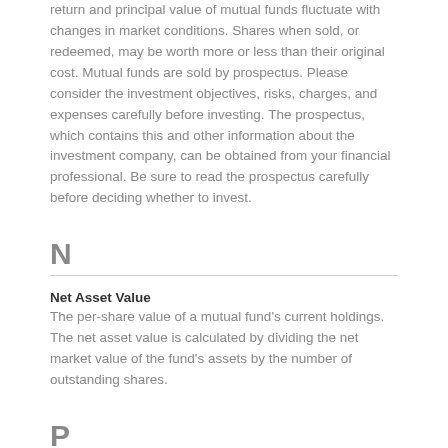return and principal value of mutual funds fluctuate with changes in market conditions. Shares when sold, or redeemed, may be worth more or less than their original cost. Mutual funds are sold by prospectus. Please consider the investment objectives, risks, charges, and expenses carefully before investing. The prospectus, which contains this and other information about the investment company, can be obtained from your financial professional. Be sure to read the prospectus carefully before deciding whether to invest.
N
Net Asset Value
The per-share value of a mutual fund's current holdings. The net asset value is calculated by dividing the net market value of the fund's assets by the number of outstanding shares.
P
Pooled Income Fund
A trust created by a charitable organization that combines the contributions of several donors and